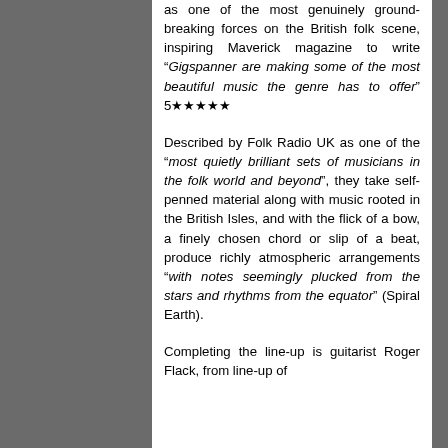as one of the most genuinely ground-breaking forces on the British folk scene, inspiring Maverick magazine to write “Gigspanner are making some of the most beautiful music the genre has to offer” 5★★★★★
Described by Folk Radio UK as one of the “most quietly brilliant sets of musicians in the folk world and beyond”, they take self-penned material along with music rooted in the British Isles, and with the flick of a bow, a finely chosen chord or slip of a beat, produce richly atmospheric arrangements “with notes seemingly plucked from the stars and rhythms from the equator” (Spiral Earth).
Completing the line-up is guitarist Roger Flack, from line-up of...